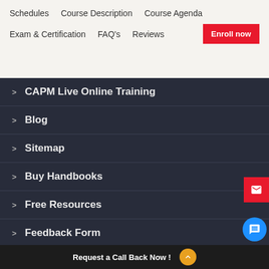Schedules   Course Description   Course Agenda   Exam & Certification   FAQ's   Reviews   Enroll now
CAPM Live Online Training
Blog
Sitemap
Buy Handbooks
Free Resources
Feedback Form
Legal
Terms of Use
Request a Call Back Now !